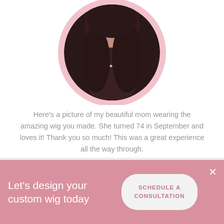[Figure (photo): Circular profile photo of a woman wearing a wig, with a pink circular border, showing a close-up portrait shot]
Here’s a picture of my beautiful mom wearing the amazing wig you made. She turned 74 in September and loves it! Thank you so much! This was a great experience all the way through.
Heidi F. of La Pine, OR in 2020
Let’s design your custom wig today
SCHEDULE A CONSULTATION